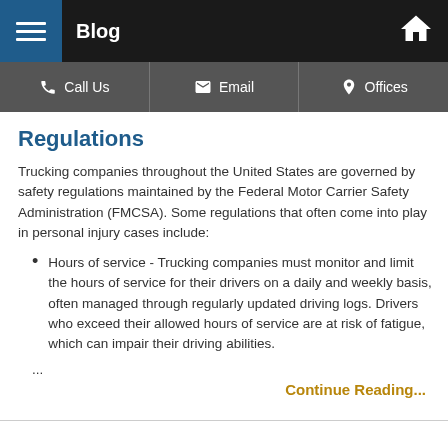Blog
Call Us | Email | Offices
Regulations
Trucking companies throughout the United States are governed by safety regulations maintained by the Federal Motor Carrier Safety Administration (FMCSA). Some regulations that often come into play in personal injury cases include:
Hours of service - Trucking companies must monitor and limit the hours of service for their drivers on a daily and weekly basis, often managed through regularly updated driving logs. Drivers who exceed their allowed hours of service are at risk of fatigue, which can impair their driving abilities.
...
Continue Reading...